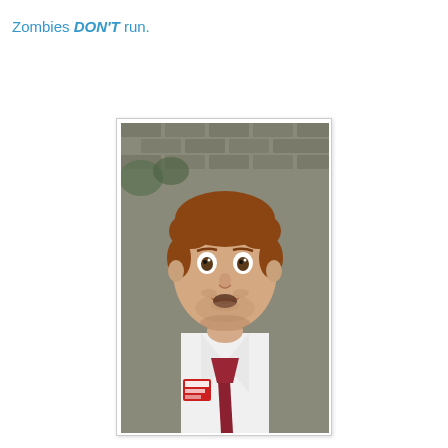Zombies DON'T run.
[Figure (photo): Portrait photo of a man with reddish-brown hair wearing a white shirt and dark red tie with a badge, looking surprised, standing in front of a brick wall]